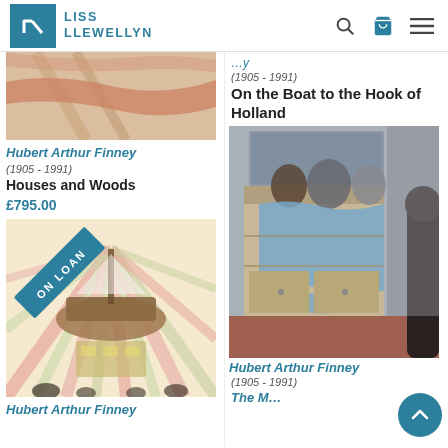Liss Llewellyn
[Figure (illustration): Partial view of a painting – warm toned with orange/red stripes, top of artwork cropped]
Hubert Arthur Finney
(1905 - 1991)
Houses and Woods
£795.00
[Figure (illustration): Painting with 'ON LOAN' badge in corner, depicting a ship with radiating pink and green stripes]
Hubert Arthur Finney
[Figure (illustration): Partial text: year date at top right, italic style]
(1905 - 1991)
On the Boat to the Hook of Holland
[Figure (illustration): Interior painting showing a wooden cabinet/dresser with a blue draped cloth, pots on top, dark floor, muted tones]
Hubert Arthur Finney
(1905 - 1991)
The M...